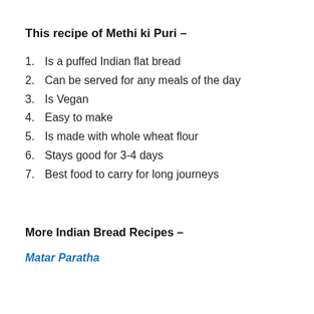This recipe of Methi ki Puri –
1. Is a puffed Indian flat bread
2. Can be served for any meals of the day
3. Is Vegan
4. Easy to make
5. Is made with whole wheat flour
6. Stays good for 3-4 days
7. Best food to carry for long journeys
More Indian Bread Recipes –
Matar Paratha